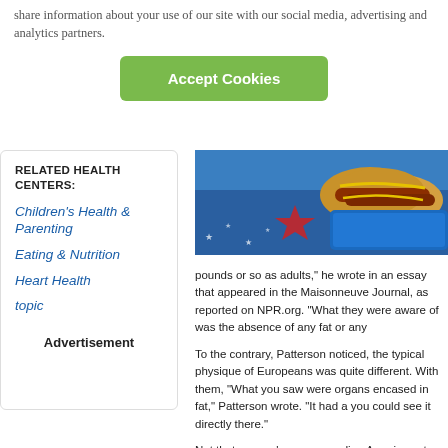share information about your use of our site with our social media, advertising and analytics partners.
Accept Cookies
RELATED HEALTH CENTERS:
Children's Health & Parenting
Eating & Nutrition
Heart Health
topic
Advertisement
[Figure (photo): Photo of hot dogs and patriotic-themed food items in blue container on American flag patterned surface]
pounds or so as adults," he wrote in an essay that appeared in the Maisonneuve Journal, as reported on NPR.org. "What they were aware of was the absence of any fat or any
To the contrary, Patterson noticed, the typical physique of Europeans was quite different. With them, "What you saw were organs encased in fat," Patterson wrote. "It had a you could see it directly there."
Not that anyone's recommending Americans to emulate Afghanistan. But the doctor blames the rise in obesity on urbanization, according to NPR.org.
"Type 2 diabetes historically didn't exist, only 70 of what's driven of course, is this rise in obesity, esp